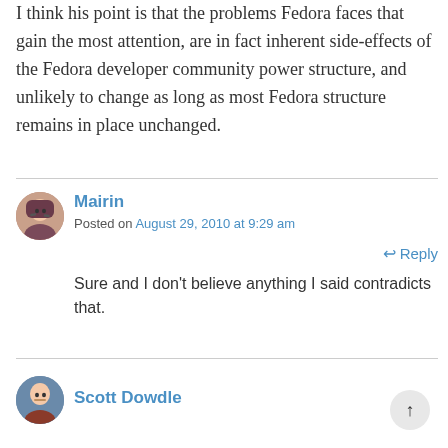I think his point is that the problems Fedora faces that gain the most attention, are in fact inherent side-effects of the Fedora developer community power structure, and unlikely to change as long as most Fedora structure remains in place unchanged.
Mairin
Posted on August 29, 2010 at 9:29 am
Reply
Sure and I don't believe anything I said contradicts that.
Scott Dowdle